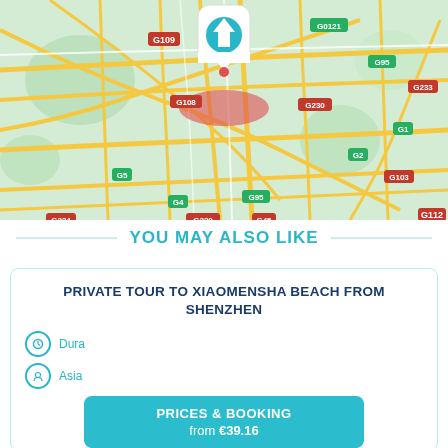[Figure (map): Street map showing road network around a location in China, with highway markers (G109, G108, G5, G4, G234, G230, G45, G95, G95, G0121, G1, G95, G233, G230, G2, G103, G112) on a teal/green background with yellow roads and a location pin with blue arrow at center top]
YOU MAY ALSO LIKE
PRIVATE TOUR TO XIAOMENSHA BEACH FROM SHENZHEN
Duration
Asia
PRICES & BOOKING from €39.16